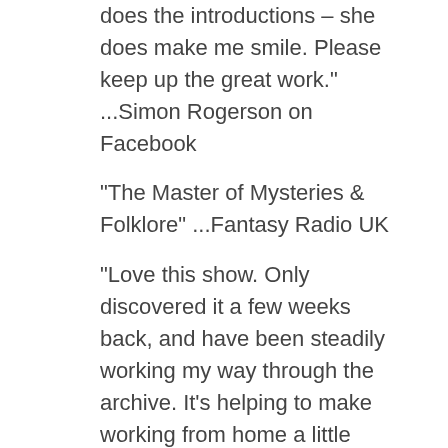does the introductions – she does make me smile. Please keep up the great work." ...Simon Rogerson on Facebook
"The Master of Mysteries & Folklore" ...Fantasy Radio UK
"Love this show. Only discovered it a few weeks back, and have been steadily working my way through the archive. It's helping to make working from home a little more interesting. Thanks!" ...Dominic Cahalin via YouTube
"Sally and I had an evening of a couple of these charming shows and a bottle of wine. We really enjoyed them, and the wine of course. Great intro Jane! and